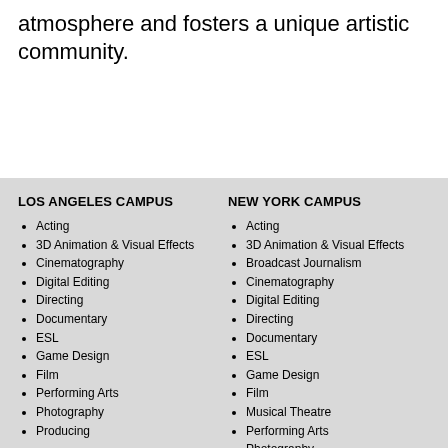atmosphere and fosters a unique artistic community.
LOS ANGELES CAMPUS
Acting
3D Animation & Visual Effects
Cinematography
Digital Editing
Directing
Documentary
ESL
Game Design
Film
Performing Arts
Photography
Producing
NEW YORK CAMPUS
Acting
3D Animation & Visual Effects
Broadcast Journalism
Cinematography
Digital Editing
Directing
Documentary
ESL
Game Design
Film
Musical Theatre
Performing Arts
Photography